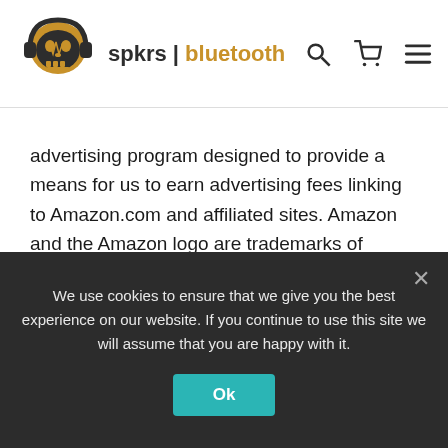spkrs | bluetooth
advertising program designed to provide a means for us to earn advertising fees linking to Amazon.com and affiliated sites. Amazon and the Amazon logo are trademarks of Amazon.com, Inc. or its affiliates.
CERTAIN CONTENT THAT APPEARS ON THIS SITE COMES FROM AMAZON SERVICES LLC.
THIS CONTENT IS PROVIDED 'AS IS' AND IS
We use cookies to ensure that we give you the best experience on our website. If you continue to use this site we will assume that you are happy with it.